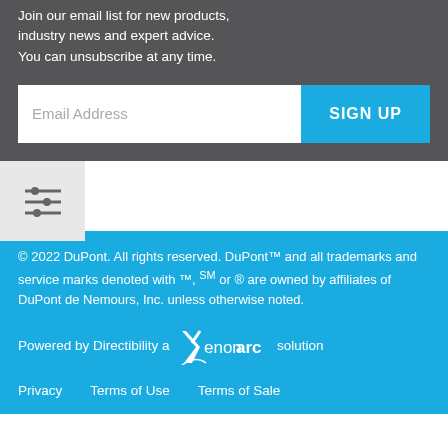Join our email list for new products, industry news and expert advice. You can unsubscribe at any time.
Email Address  SIGN UP
[Figure (other): Filter/settings icon with three horizontal sliders]
© 2022 DuPont. All rights reserved. DuPont™ and all trademarks and service marks denoted with ™, ℠ or ® are owned by affiliates of DuPont de Nemours, Inc. unless otherwise noted.
Powered by Directibility a Xenon arc solution
Privacy   Terms of Use   Terms of Sale